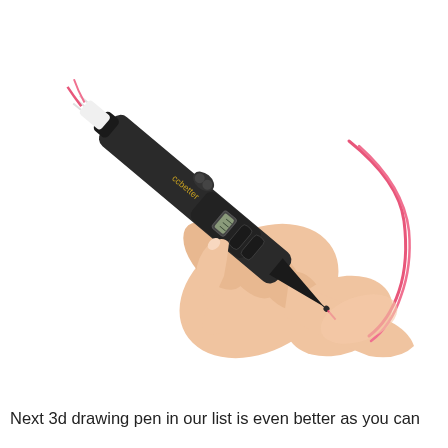[Figure (photo): A hand holding a black 3D drawing pen (branded 'ccbetter') with pink filament threaded through it and a white nozzle tip visible at the top. The pen has a small LCD display and two buttons. The hand is holding the pen at an angle pointing downward-left.]
Next 3d drawing pen in our list is even better as you can